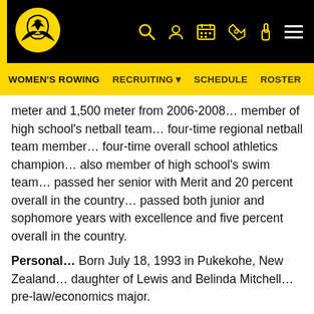University of Iowa Athletics – Women's Rowing
WOMEN'S ROWING  RECRUITING  SCHEDULE  ROSTER
meter and 1,500 meter from 2006-2008… member of high school's netball team… four-time regional netball team member… four-time overall school athletics champion… also member of high school's swim team… passed her senior with Merit and 20 percent overall in the country… passed both junior and sophomore years with excellence and five percent overall in the country.
Personal… Born July 18, 1993 in Pukekohe, New Zealand… daughter of Lewis and Belinda Mitchell… pre-law/economics major.
Why Iowa… I had always wanted to go to a university in America. The level of competition here for sports and the